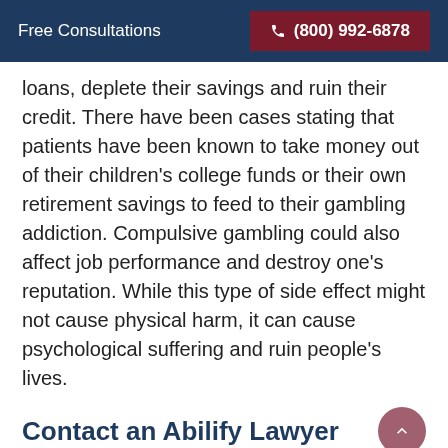Free Consultations   ☎ (800) 992-6878
loans, deplete their savings and ruin their credit. There have been cases stating that patients have been known to take money out of their children's college funds or their own retirement savings to feed to their gambling addiction. Compulsive gambling could also affect job performance and destroy one's reputation. While this type of side effect might not cause physical harm, it can cause psychological suffering and ruin people's lives.
Contact an Abilify Lawyer
If you
[Figure (photo): Partial image of what appears to be a legal or medical professional setting]